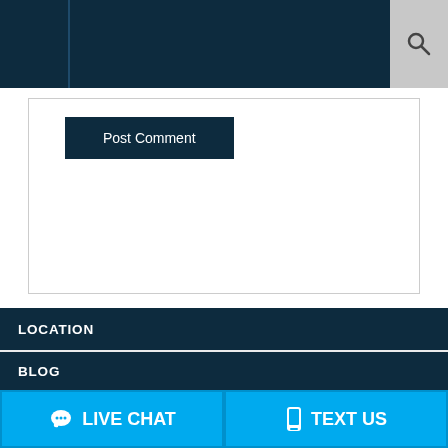Navigation bar with search
Post Comment
LOCATION
J. Brooks Davis

802 Coleman Blvd.
Suite 200
Mt. Pleasant, South Carolina 29464

Phone: 843-225-2255
Fax: 801-206-8469
BLOG
LIVE CHAT
TEXT US